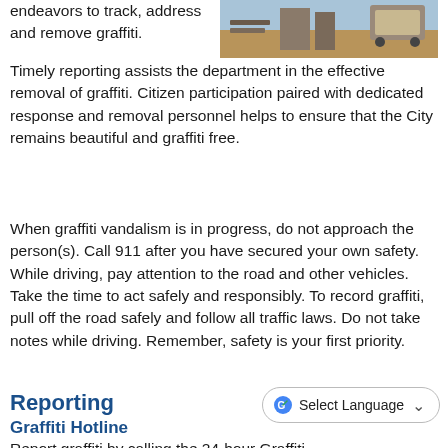[Figure (photo): Outdoor photo showing people near a road/path area with a vehicle visible]
endeavors to track, address and remove graffiti. Timely reporting assists the department in the effective removal of graffiti. Citizen participation paired with dedicated response and removal personnel helps to ensure that the City remains beautiful and graffiti free.
When graffiti vandalism is in progress, do not approach the person(s). Call 911 after you have secured your own safety. While driving, pay attention to the road and other vehicles. Take the time to act safely and responsibly. To record graffiti, pull off the road safely and follow all traffic laws. Do not take notes while driving. Remember, safety is your first priority.
Reporting
Graffiti Hotline
[Figure (screenshot): Google Translate 'Select Language' dropdown button]
Report graffiti by calling the 24-hour Graffiti